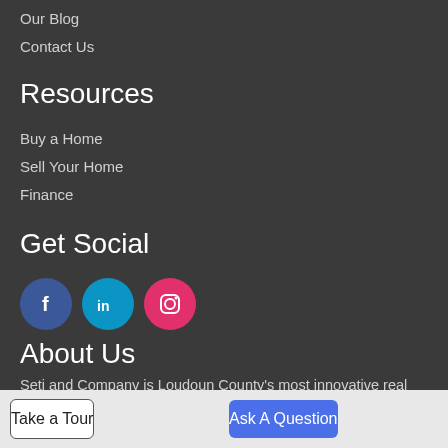Our Blog
Contact Us
Resources
Buy a Home
Sell Your Home
Finance
Get Social
[Figure (infographic): Three social media icons: Facebook (blue circle with f), LinkedIn (teal circle with in), Instagram (pink circle with camera icon)]
About Us
Seti and Company is Loudoun County's most innovative real estate team.
Take a Tour
Ask A Question